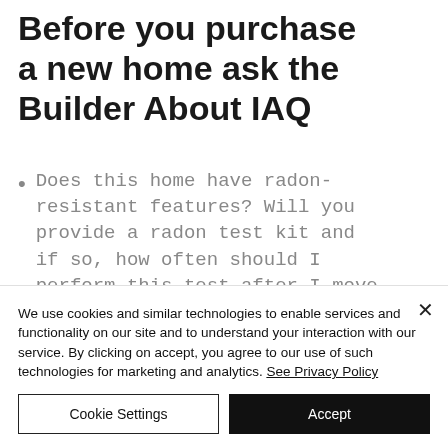Before you purchase a new home ask the Builder About IAQ
Does this home have radon-resistant features? Will you provide a radon test kit and if so, how often should I perform this test after I move in?
We use cookies and similar technologies to enable services and functionality on our site and to understand your interaction with our service. By clicking on accept, you agree to our use of such technologies for marketing and analytics. See Privacy Policy